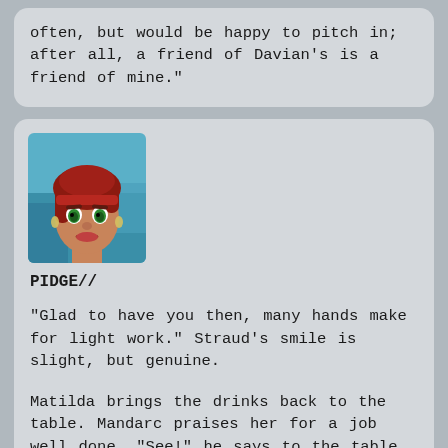often, but would be happy to pitch in; after all, a friend of Davian's is a friend of mine."
[Figure (screenshot): Avatar portrait of Pidge, a character with red hair and green eyes, set against a blue background]
PIDGE//
"Glad to have you then, many hands make for light work." Straud's smile is slight, but genuine.

Matilda brings the drinks back to the table. Mandarc praises her for a job well done. "See!" he says to the table. "I told you she was fast." Matilda rolls her eyes and leaves the